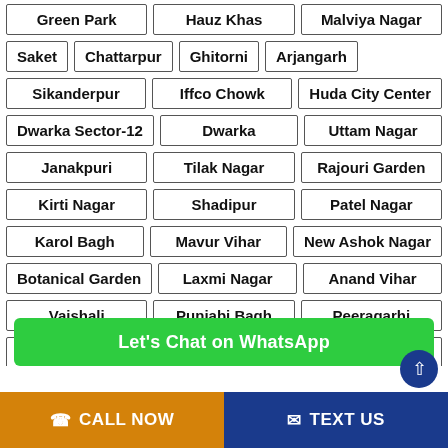Green Park
Hauz Khas
Malviya Nagar
Saket
Chattarpur
Ghitorni
Arjangarh
Sikanderpur
Iffco Chowk
Huda City Center
Dwarka Sector-12
Dwarka
Uttam Nagar
Janakpuri
Tilak Nagar
Rajouri Garden
Kirti Nagar
Shadipur
Patel Nagar
Karol Bagh
Mavur Vihar
New Ashok Nagar
Botanical Garden
Laxmi Nagar
Anand Vihar
Vaishali
Punjabi Bagh
Peeragarhi
Udyog Nagar
Nangloi
Mundka
Lajpa...
[Figure (screenshot): WhatsApp chat banner and call/text bottom navigation bar]
CALL NOW | TEXT US